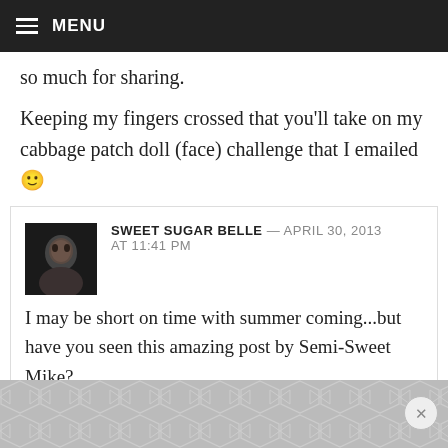MENU
so much for sharing.
Keeping my fingers crossed that you’ll take on my cabbage patch doll (face) challenge that I emailed 🙂
SWEET SUGAR BELLE — APRIL 30, 2013 AT 11:41 PM
I may be short on time with summer coming…but have you seen this amazing post by Semi-Sweet Mike?
http://www.semisweetdesigns.com/2013thursday-cabbage-patch-kids-